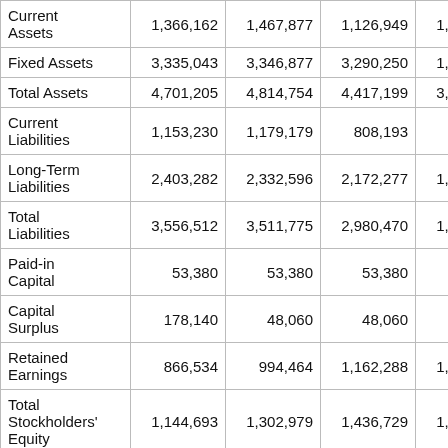|  | Col1 | Col2 | Col3 | Col4 | Col5 |
| --- | --- | --- | --- | --- | --- |
| Current Assets | 1,366,162 | 1,467,877 | 1,126,949 | 1,640,151 | 1,113,4… |
| Fixed Assets | 3,335,043 | 3,346,877 | 3,290,250 | 1,878,223 | 1,766,0… |
| Total Assets | 4,701,205 | 4,814,754 | 4,417,199 | 3,518,374 | 2,879,4… |
| Current Liabilities | 1,153,230 | 1,179,179 | 808,193 | 905,830 | 523,3… |
| Long-Term Liabilities | 2,403,282 | 2,332,596 | 2,172,277 | 1,075,995 | 627,7… |
| Total Liabilities | 3,556,512 | 3,511,775 | 2,980,470 | 1,981,826 | 1,151,0… |
| Paid-in Capital | 53,380 | 53,380 | 53,380 | 53,380 | 53,3… |
| Capital Surplus | 178,140 | 48,060 | 48,060 | 48,060 | 48,0… |
| Retained Earnings | 866,534 | 994,464 | 1,162,288 | 1,256,896 | 1,413,4… |
| Total Stockholders' Equity | 1,144,693 | 1,302,979 | 1,436,729 | 1,536,548 | 1,728,3… |